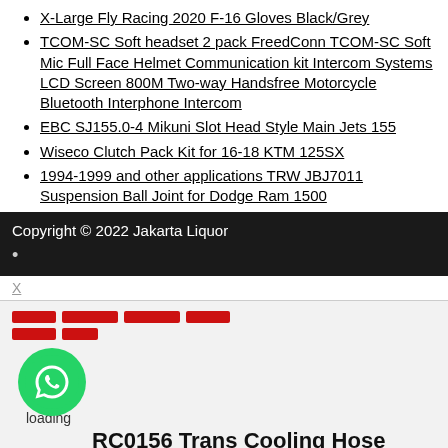X-Large Fly Racing 2020 F-16 Gloves Black/Grey
TCOM-SC Soft headset 2 pack FreedConn TCOM-SC Soft Mic Full Face Helmet Communication kit Intercom Systems LCD Screen 800M Two-way Handsfree Motorcycle Bluetooth Interphone Intercom
EBC SJ155.0-4 Mikuni Slot Head Style Main Jets 155
Wiseco Clutch Pack Kit for 16-18 KTM 125SX
1994-1999 and other applications TRW JBJ7011 Suspension Ball Joint for Dodge Ram 1500
Copyright © 2022 Jakarta Liquor
X
[Figure (other): Skeleton loading placeholder bars in red]
[Figure (illustration): WhatsApp green circular button icon with loading text below]
RC0156 Trans Cooling Hose